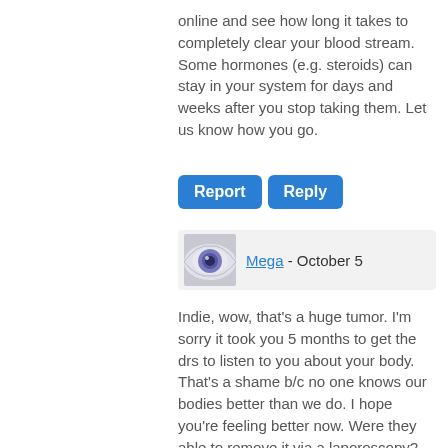online and see how long it takes to completely clear your blood stream. Some hormones (e.g. steroids) can stay in your system for days and weeks after you stop taking them. Let us know how you go.
[Figure (other): Two buttons: 'Report' and 'Reply', styled in blue with white bold text and rounded corners]
[Figure (other): User avatar image showing a close-up of an eye with purple/blue iris, next to username 'Mega' with date 'October 5', on a light grey background]
Indie, wow, that's a huge tumor. I'm sorry it took you 5 months to get the drs to listen to you about your body. That's a shame b/c no one knows our bodies better than we do. I hope you're feeling better now. Were they able to remove it via a laporoscopy? Or did you have the more serious kind of surgery? Did you say that it's possible to have a cyst